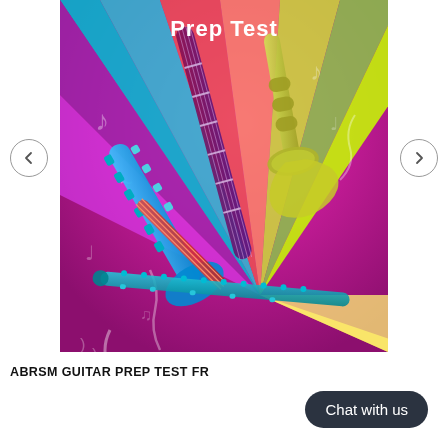[Figure (illustration): ABRSM Guitar Prep Test book cover showing colorful musical instruments (saxophone, guitar, trumpet, clarinet, violin) on a vibrant magenta/pink background with a starburst pattern. Text 'Prep Test' visible at top.]
ABRSM GUITAR PREP TEST FR
Chat with us